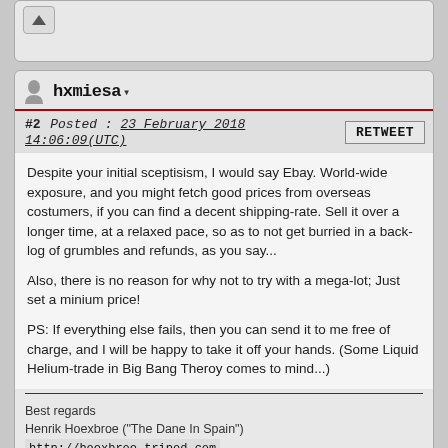[Figure (screenshot): Top stub of a forum post card with eject/upload button, partially visible]
hxmiesa
#2  Posted : 23 February 2018 14:06:09(UTC)
RETWEET
Despite your initial sceptisism, I would say Ebay. World-wide exposure, and you might fetch good prices from overseas costumers, if you can find a decent shipping-rate. Sell it over a longer time, at a relaxed pace, so as to not get burried in a back-log of grumbles and refunds, as you say...
Also, there is no reason for why not to try with a mega-lot; Just set a minium price!
PS: If everything else fails, then you can send it to me free of charge, and I will be happy to take it off your hands. (Some Liquid Helium-trade in Big Bang Theroy comes to mind...)
Best regards
Henrik Hoexbroe ("The Dane In Spain")
http://hoexbroe.tripod.com
[Figure (screenshot): WWW button with globe icon at the bottom of the post card]